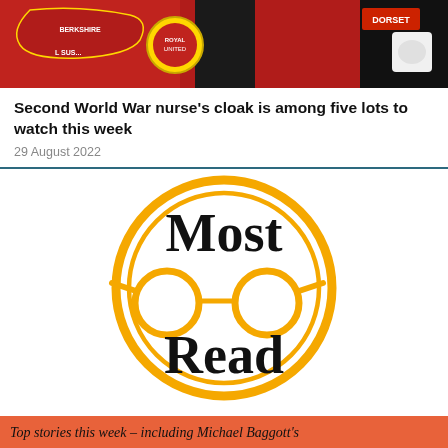[Figure (photo): Close-up photo of red military/scout jackets with badges including 'Berkshire', 'Dorset', and other patches visible]
Second World War nurse's cloak is among five lots to watch this week
29 August 2022
[Figure (logo): Most Read logo — large circular golden ring with two concentric lines, golden glasses illustration in center, bold black text 'Most' above and 'Read' below on white background]
Top stories this week – including Michael Baggott's